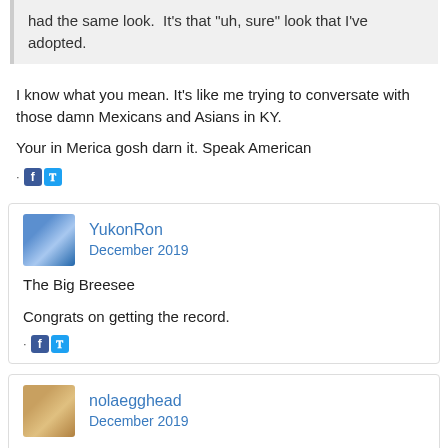had the same look. It's that "uh, sure" look that I've adopted.
I know what you mean. It's like me trying to conversate with those damn Mexicans and Asians in KY.

Your in Merica gosh darn it. Speak American
YukonRon
December 2019
The Big Breesee

Congrats on getting the record.
nolaegghead
December 2019